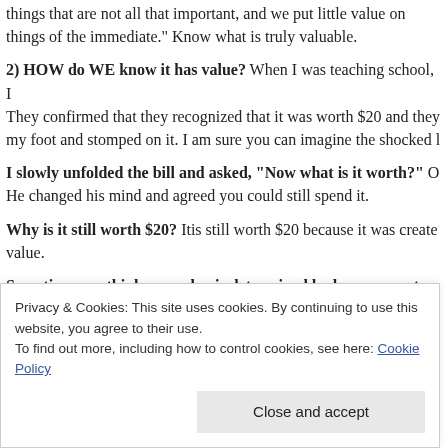things that are not all that important, and we put little value on things of the immediate." Know what is truly valuable.
2) HOW do WE know it has value? When I was teaching school, I They confirmed that they recognized that it was worth $20 and they my foot and stomped on it. I am sure you can imagine the shocked l
I slowly unfolded the bill and asked, “Now what is it worth?” O He changed his mind and agreed you could still spend it.
Why is it still worth $20? Itis still worth $20 because it was created value.
Sometimes we think our value is determined by how we are tre
3)Where do YOU look for gold? You don’t go “prospecting” where wouldn’t use a fishing pole in a lake to find it. You would find fish the people has eternal value.
Privacy & Cookies: This site uses cookies. By continuing to use this website, you agree to their use. To find out more, including how to control cookies, see here: Cookie Policy
Close and accept